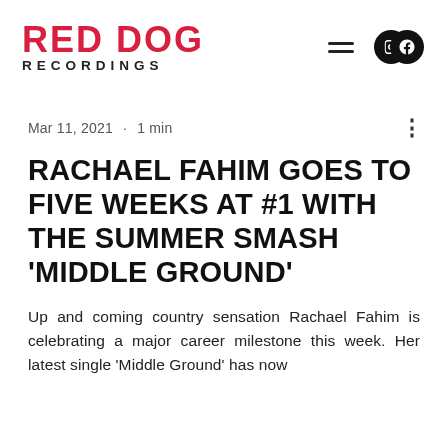RED DOG RECORDINGS
Mar 11, 2021 · 1 min
RACHAEL FAHIM GOES TO FIVE WEEKS AT #1 WITH THE SUMMER SMASH 'MIDDLE GROUND'
Up and coming country sensation Rachael Fahim is celebrating a major career milestone this week. Her latest single 'Middle Ground' has now